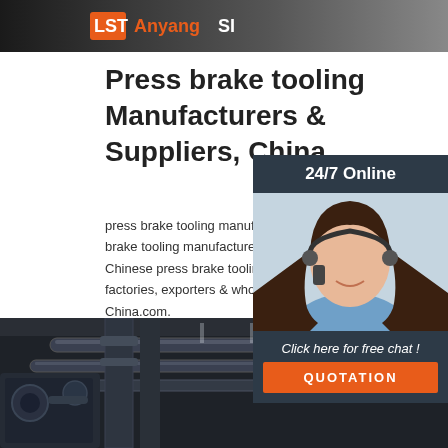[Figure (photo): Top banner image with Anyang SI logo on dark background]
Press brake tooling Manufacturers & Suppliers, China
press brake tooling manufacturer/supplier, China press brake tooling manufacturer & factory list, find qualified Chinese press brake tooling manufacturers, suppliers, factories, exporters & wholesalers quickly on Made-in-China.com.
[Figure (photo): 24/7 Online chat widget with woman wearing headset, Click here for free chat, QUOTATION button]
[Figure (photo): Get Price orange button]
[Figure (photo): Bottom image showing industrial pipes in a factory/warehouse setting with TOP badge overlay]